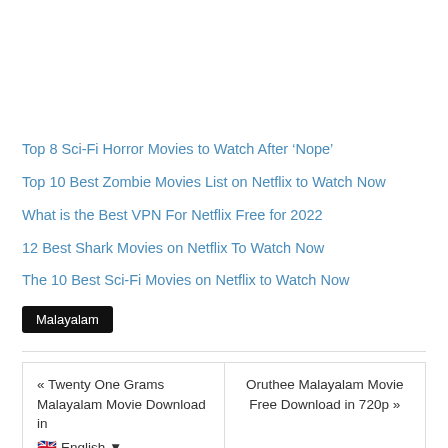Top 8 Sci-Fi Horror Movies to Watch After ‘Nope’
Top 10 Best Zombie Movies List on Netflix to Watch Now
What is the Best VPN For Netflix Free for 2022
12 Best Shark Movies on Netflix To Watch Now
The 10 Best Sci-Fi Movies on Netflix to Watch Now
Malayalam
« Twenty One Grams Malayalam Movie Download in [flag] English
Oruthee Malayalam Movie Free Download in 720p »